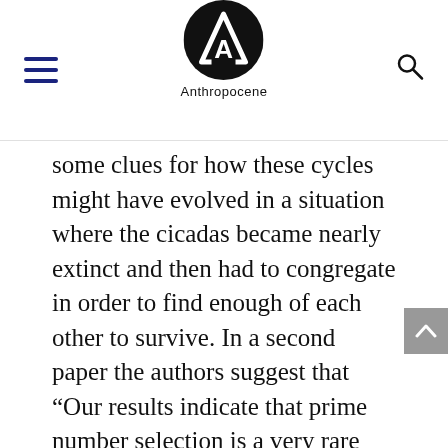Anthropocene
some clues for how these cycles might have evolved in a situation where the cicadas became nearly extinct and then had to congregate in order to find enough of each other to survive. In a second paper the authors suggest that “Our results indicate that prime number selection is a very rare event, occurring at the verge of extinction. This is probably why the evolution of prime-numbered periodicity was likely only in what is now the Central and Eastern United States, where glacial advances created many refuges during the